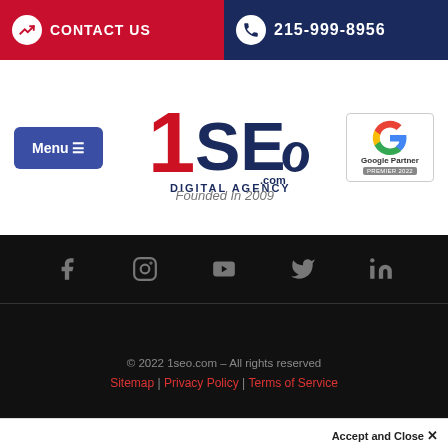CONTACT US | 215-999-8956
[Figure (logo): 1SEO Digital Agency logo with crown icon and .com, Founded In 2009]
[Figure (logo): Google Partner Premier 2022 badge]
[Figure (infographic): Social media icons: Facebook, Instagram, YouTube, Twitter, LinkedIn on dark background]
© 2022 1seo.com – All rights reserved | Sitemap | Privacy Policy | Terms of Service
Your browser settings do not allow cross-site tracking for advertising. Click on this page to allow us to use cross-site tracking to tailor ads to you. Learn more or opt out of this AdRoll tracking by clicking here. This message only appears once.